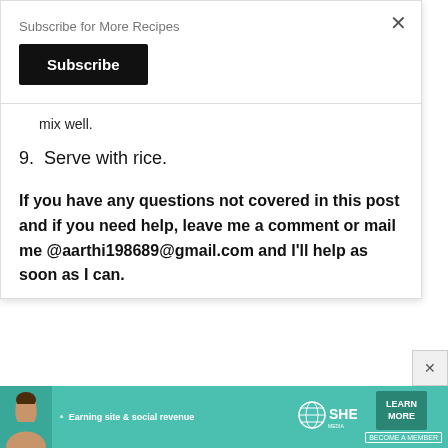Subscribe for More Recipes
Subscribe
mix well.
9. Serve with rice.
If you have any questions not covered in this post and if you need help, leave me a comment or mail me @aarthi198689@gmail.com and I'll help as soon as I can.
[Figure (infographic): SHE Partner Network advertisement banner with woman photo, tagline 'Earning site & social revenue', SHE logo, LEARN MORE button, and BECOME A MEMBER text]